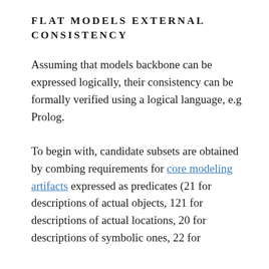FLAT MODELS EXTERNAL CONSISTENCY
Assuming that models backbone can be expressed logically, their consistency can be formally verified using a logical language, e.g Prolog.
To begin with, candidate subsets are obtained by combing requirements for core modeling artifacts expressed as predicates (21 for descriptions of actual objects, 121 for descriptions of actual locations, 20 for descriptions of symbolic ones, 22 for